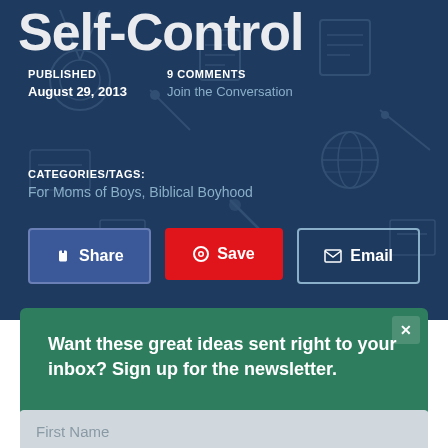Self-Control
PUBLISHED
August 29, 2013
9 COMMENTS
Join the Conversation
CATEGORIES/TAGS:
For Moms of Boys, Biblical Boyhood
[Figure (screenshot): Social sharing buttons: Share (Facebook, blue), Save (Pinterest, red), Email (dark outline)]
Want these great ideas sent right to your inbox? Sign up for the newsletter.
First Name